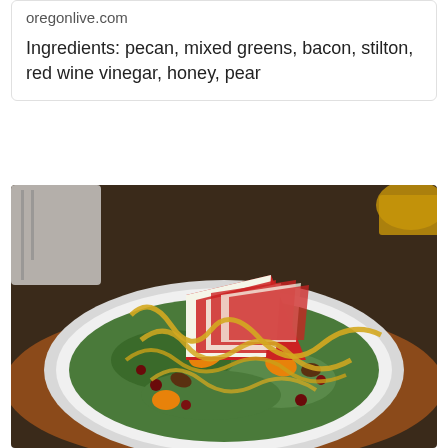oregonlive.com
Ingredients: pecan, mixed greens, bacon, stilton, red wine vinegar, honey, pear
[Figure (photo): A salad on a white plate featuring sliced red apples, mixed greens, pecans, dried cranberries, orange segments, and drizzled with a honey-mustard dressing, set on a brown woven placemat with a fork and white cloth in background.]